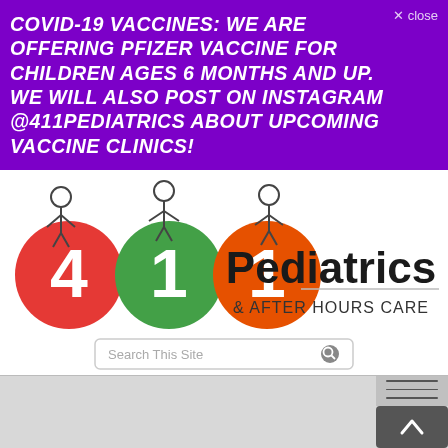COVID-19 VACCINES: WE ARE OFFERING PFIZER VACCINE FOR CHILDREN AGES 6 MONTHS AND UP. WE WILL ALSO POST ON INSTAGRAM @411PEDIATRICS ABOUT UPCOMING VACCINE CLINICS!
[Figure (logo): 411 Pediatrics & After Hours Care logo with illustrated stick-figure children and colorful number circles]
[Figure (screenshot): Search This Site input box with search icon]
[Figure (infographic): Row of dark circular social media icons: Facebook, Twitter, YouTube, Instagram, RSS feed]
[Figure (infographic): Green rounded PATIENT PORTAL button with dashboard icon]
[Figure (screenshot): Bottom gray bar with hamburger menu icon and scroll-to-top button]